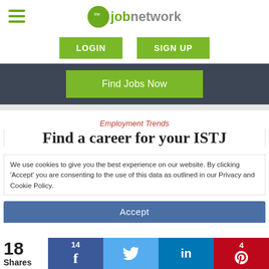the job network — Navigation header with hamburger menu, LOGIN, SIGN UP, Find Jobs Now
Employment Trends
Find a career for your ISTJ
We use cookies to give you the best experience on our website. By clicking 'Accept' you are consenting to the use of this data as outlined in our Privacy and Cookie Policy.
18 Shares
14 (Facebook share) | (Twitter share) | (LinkedIn share) | 4 (Pinterest share)